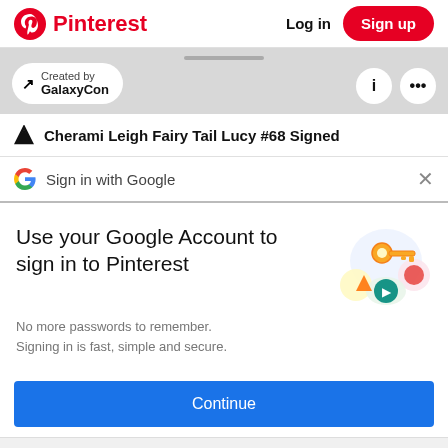Pinterest  Log in  Sign up
[Figure (screenshot): Pinterest pin preview strip showing 'Created by GalaxyCon' pill button with arrow icon, plus info (i) and menu (...) icon circles on gray background]
Cherami Leigh Fairy Tail Lucy #68 Signed
Sign in with Google
Use your Google Account to sign in to Pinterest
No more passwords to remember. Signing in is fast, simple and secure.
Continue